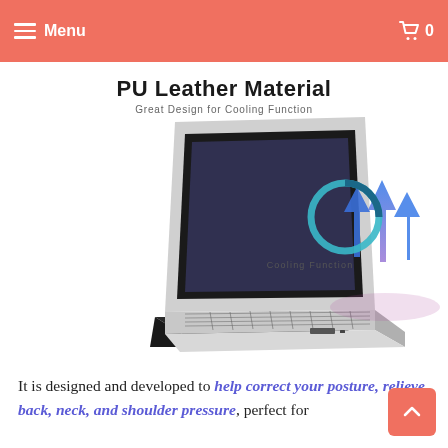Menu | 0
prevent overheating while creating a comfortable viewing and typing angle.
PU Leather Material
Great Design for Cooling Function
[Figure (photo): A laptop elevated on a dark wedge stand, with three upward blue arrows illustrating airflow/cooling function beneath the laptop. A teal circular ring icon labeled 'Cooling Function' is shown to the right.]
It is designed and developed to help correct your posture, relieve back, neck, and shoulder pressure, perfect for